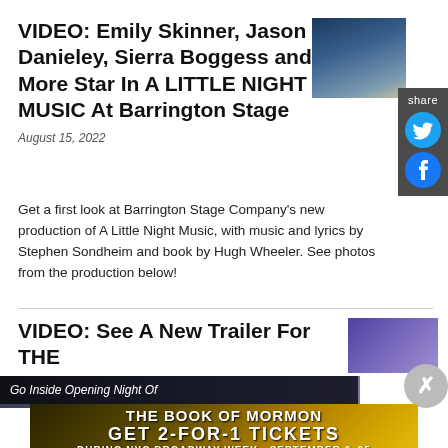VIDEO: Emily Skinner, Jason Danieley, Sierra Boggess and More Star In A LITTLE NIGHT MUSIC At Barrington Stage
[Figure (photo): Production photo from A Little Night Music at Barrington Stage showing two performers on stage]
[Figure (infographic): Share panel with Twitter and Facebook social media icons]
August 15, 2022
Get a first look at Barrington Stage Company's new production of A Little Night Music, with music and lyrics by Stephen Sondheim and book by Hugh Wheeler. See photos from the production below!
VIDEO: See A New Trailer For THE
[Figure (photo): Thumbnail image for second video article]
Go Inside Opening Night Of
[Figure (infographic): Advertisement for The Book of Mormon - GET 2-FOR-1 TICKETS DURING NYC BROADWAY WEEK · SEPTEMBER 6-25 USE CODE BWAYWK - GET TICKETS button]